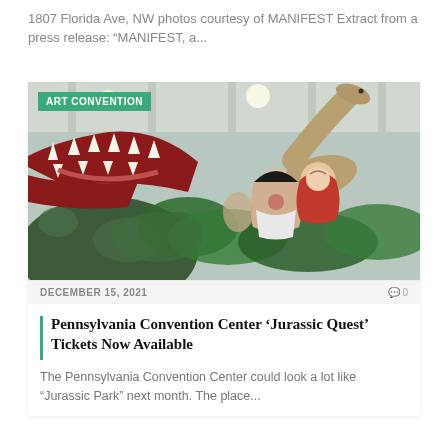1807 Florida Ave, NW photos courtesy of MANIFEST Extract from a press release: “MANIFEST, a...
[Figure (photo): A mother and child looking in awe at large dinosaur models at an exhibit, with a T-Rex mouth visible in the foreground and a long-neck dinosaur in the background, at an indoor convention display.]
ART CONVENTION
DECEMBER 15, 2021   0
Pennsylvania Convention Center ‘Jurassic Quest’ Tickets Now Available
The Pennsylvania Convention Center could look a lot like “Jurassic Park” next month. The place...